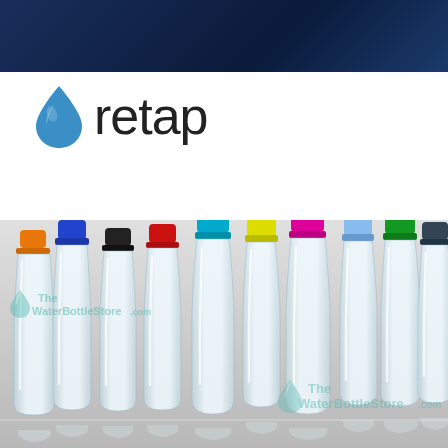[Figure (logo): Retap brand logo with blue water drop icon and 'retap' wordmark in dark gray/black sans-serif font]
[Figure (photo): Nine Retap glass water bottles arranged in a row, each with a different colored silicone cap: orange, blue, black, red, teal, yellow, pink/magenta, light blue, green, dark gray/navy. Bottles are clear glass with curved/teardrop shape. 'The WaterBottleStore.com' watermark appears twice over the image.]